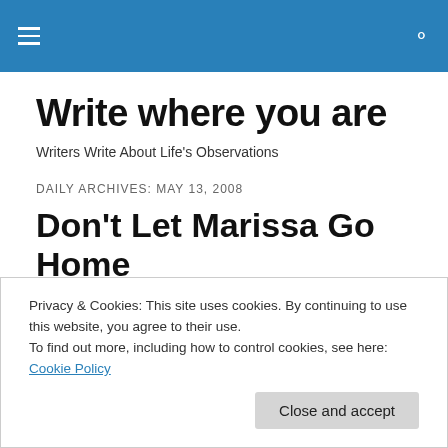Write where you are — navigation bar with hamburger menu and search icon
Write where you are
Writers Write About Life's Observations
DAILY ARCHIVES: MAY 13, 2008
Don't Let Marissa Go Home
Privacy & Cookies: This site uses cookies. By continuing to use this website, you agree to their use.
To find out more, including how to control cookies, see here: Cookie Policy
with any great kind of dancing skills…but she has